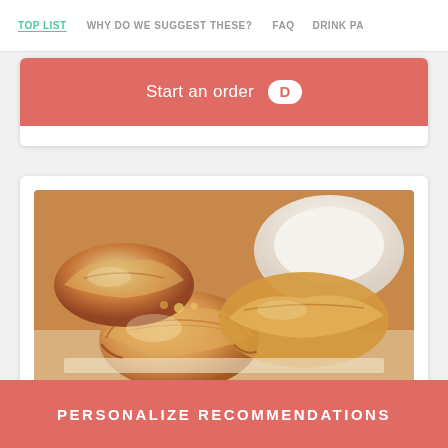TOP LIST | WHY DO WE SUGGEST THESE? | FAQ | DRINK PA
Start an order
[Figure (photo): Close-up photo of golden fried dumplings/wontons arranged on a white plate with a small white dipping sauce bowl in the background]
PERSONALIZE RECOMMENDATIONS